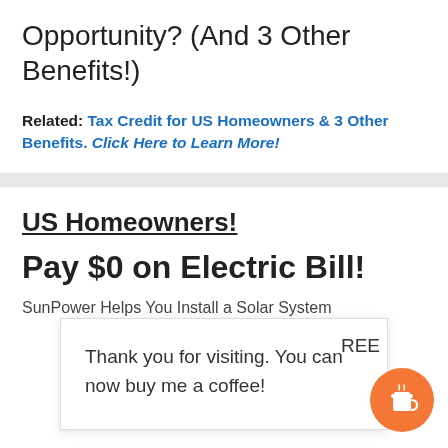Opportunity? (And 3 Other Benefits!)
Related: Tax Credit for US Homeowners & 3 Other Benefits. Click Here to Learn More!
US Homeowners!
Pay $0 on Electric Bill!
SunPower Helps You Install a Solar System
Thank you for visiting. You can now buy me a coffee!